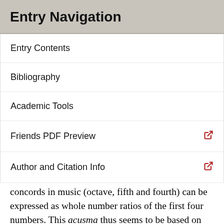Entry Navigation
Entry Contents
Bibliography
Academic Tools
Friends PDF Preview
Author and Citation Info
concords in music (octave, fifth and fourth) can be expressed as whole number ratios of the first four numbers. This acusma thus seems to be based on the knowledge of the relationship between the concords and the whole number ratios. The picture of Pythagoras that emerges from the evidence is thus not of a mathematician, who offered rigorous proofs, or of a scientist, who carried out experiments to discover the nature of the natural world, but rather of someone who sees special significance in and assigns special prominence to mathematical relationships that were in general circulation. This is the context in which two other acusmata